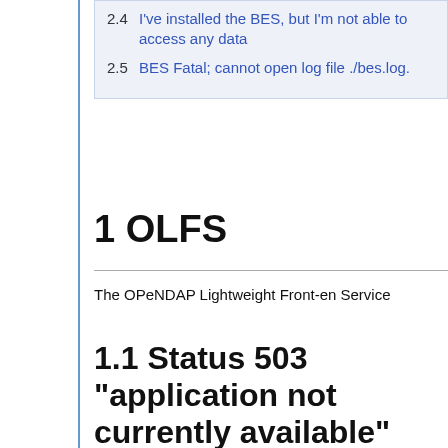2.4 I've installed the BES, but I'm not able to access any data
2.5 BES Fatal; cannot open log file ./bes.log.
1 OLFS
The OPeNDAP Lightweight Front-end Service
1.1 Status 503 "application not currently available"